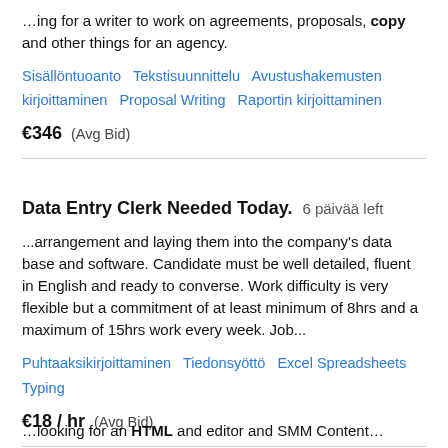...ing for a writer to work on agreements, proposals, copy and other things for an agency.
Sisällöntuoanto   Tekstisuunnittelu   Avustushakemusten kirjoittaminen   Proposal Writing   Raportin kirjoittaminen
€346  (Avg Bid)
Data Entry Clerk Needed Today.  6 päivää left
...arrangement and laying them into the company's data base and software. Candidate must be well detailed, fluent in English and ready to converse. Work difficulty is very flexible but a commitment of at least minimum of 8hrs and a maximum of 15hrs work every week. Job...
Puhtaaksikirjoittaminen   Tiedonsyöttö   Excel Spreadsheets   Typing
€18 / hr  (Avg Bid)
...looking for an HTML and editor and SMM Content...